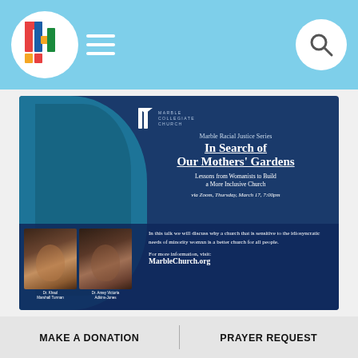Marble Collegiate Church website header with logo, hamburger menu, and search icon
[Figure (infographic): Marble Racial Justice Series event flyer: 'In Search of Our Mothers' Gardens — Lessons from Womanists to Build a More Inclusive Church, via Zoom, Thursday, March 17, 7:00pm'. Features two speaker headshots labeled Dr. Khaol Marshall Turman and Dr. Amey Victoria Adkins-Jones. Includes church logo, description text, and MarbleChurch.org link.]
MAKE A DONATION
PRAYER REQUEST